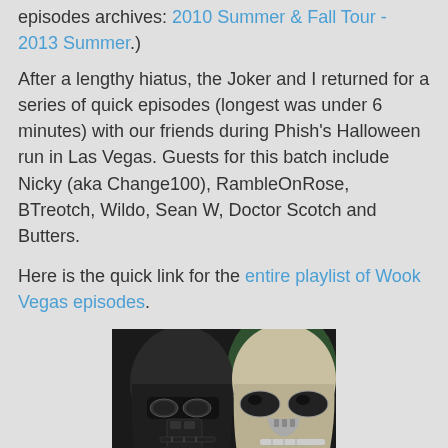episodes archives: 2010 Summer & Fall Tour - 2013 Summer.)
After a lengthy hiatus, the Joker and I returned for a series of quick episodes (longest was under 6 minutes) with our friends during Phish's Halloween run in Las Vegas. Guests for this batch include Nicky (aka Change100), RambleOnRose, BTreotch, Wildo, Sean W, Doctor Scotch and Butters.
Here is the quick link for the entire playlist of Wook Vegas episodes.
[Figure (photo): Two Star Wars helmet figures (Darth Vader and Stormtrooper) close together, with text 'WOOK VEGAS' at the bottom in large yellow letters on a dark background.]